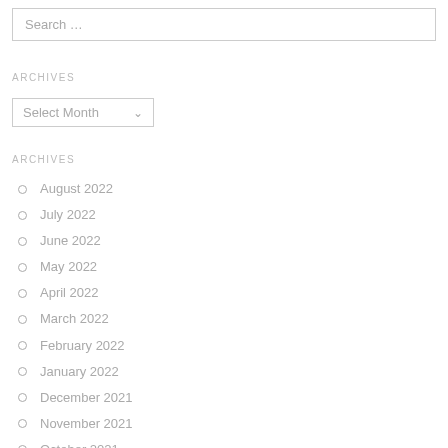Search …
ARCHIVES
Select Month
ARCHIVES
August 2022
July 2022
June 2022
May 2022
April 2022
March 2022
February 2022
January 2022
December 2021
November 2021
October 2021